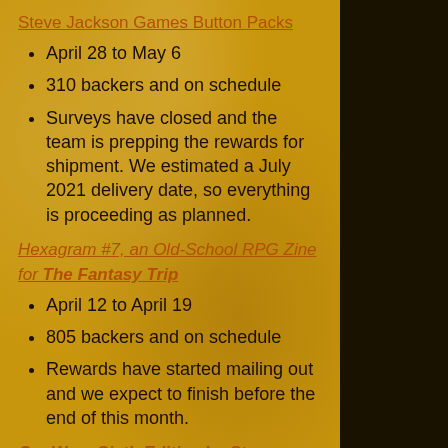Steve Jackson Games Button Packs
April 28 to May 6
310 backers and on schedule
Surveys have closed and the team is prepping the rewards for shipment. We estimated a July 2021 delivery date, so everything is proceeding as planned.
Hexagram #7, an Old-School RPG Zine for The Fantasy Trip
April 12 to April 19
805 backers and on schedule
Rewards have started mailing out and we expect to finish before the end of this month.
Car Wars Sixth Edition by Steve Jackson Games